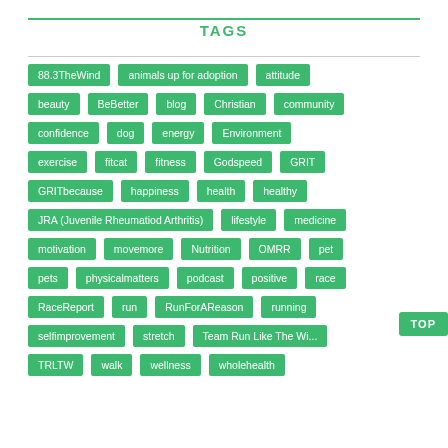TAGS
88.3TheWind
animals up for adoption
attitude
beauty
BeBetter
blog
Christian
community
confidence
dog
energy
Environment
exercise
fitcat
fitness
Godspeed
GRIT
GRITbecause
happiness
health
healthy
JRA (Juvenile Rheumatiod Arthritis)
lifestyle
medicine
motivation
movemore
Nutrition
OMRR
pet
pets
physicalmatters
podcast
positive
race
RaceReport
run
RunForAReason
running
selfimprovement
stretch
Team Run Like The Wi...
TRLTW
walk
wellness
wholehealth